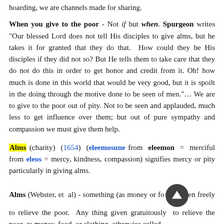hoarding, we are channels made for sharing.
When you give to the poor - Not if but when. Spurgeon writes "Our blessed Lord does not tell His disciples to give alms, but he takes it for granted that they do that. How could they be His disciples if they did not so? But He tells them to take care that they do not do this in order to get honor and credit from it. Oh! how much is done in this world that would be very good, but it is spoilt in the doing through the motive done to be seen of men."… We are to give to the poor out of pity. Not to be seen and applauded, much less to get influence over them; but out of pure sympathy and compassion we must give them help.
Alms (charity) (1654) (eleemosune from eleemon = merciful from eleos = mercy, kindness, compassion) signifies mercy or pity particularly in giving alms.
Alms (Webster, et al) - something (as money or food) given freely to relieve the poor. Any thing given gratuitously to relieve the poor, as money, food, or clothing, otherwise called